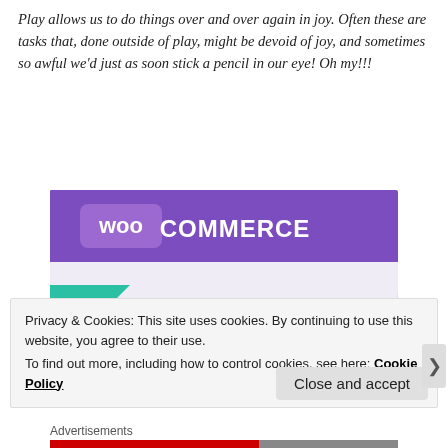Play allows us to do things over and over again in joy. Often these are tasks that, done outside of play, might be devoid of joy, and sometimes so awful we'd just as soon stick a pencil in our eye! Oh my!!!
[Figure (logo): WooCommerce promotional banner with purple header containing WooCommerce logo, teal triangle shape on left, blue quarter-circle on right, and bold text 'How to start selling subscriptions online' on white/light gray background]
Privacy & Cookies: This site uses cookies. By continuing to use this website, you agree to their use.
To find out more, including how to control cookies, see here: Cookie Policy
Close and accept
Advertisements